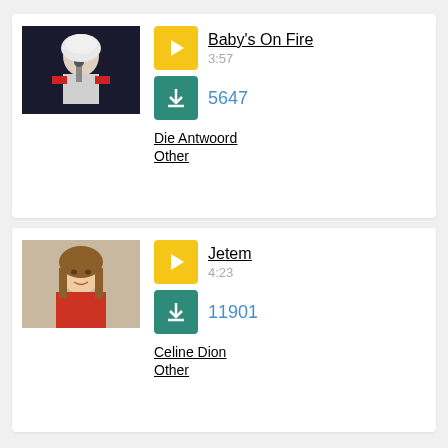[Figure (photo): Artist photo: performer on stage with white hair and microphone (Die Antwoord)]
Baby's On Fire
3:57
5647
Die Antwoord
Other
[Figure (photo): Artist photo: smiling woman with long brown hair (Celine Dion)]
Jetem
4:23
11901
Celine Dion
Other